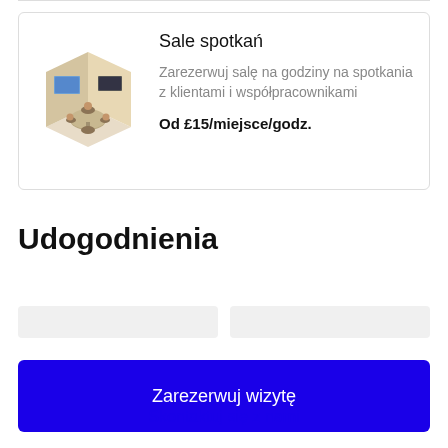[Figure (illustration): Isometric illustration of a meeting room with a round table, chairs, and a large screen/painting on the wall]
Sale spotkań
Zarezerwuj salę na godziny na spotkania z klientami i współpracownikami
Od £15/miejsce/godz.
Udogodnienia
Zarezerwuj wizytę
Skontaktuj się z nami